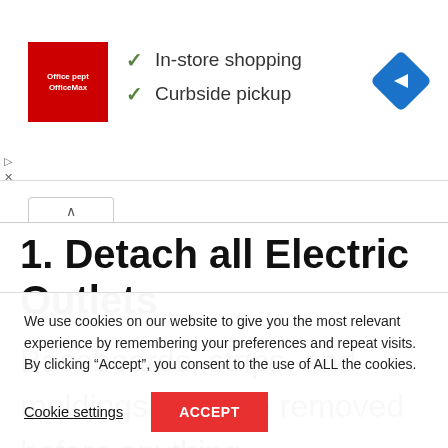[Figure (screenshot): Office Depot OfficeMax advertisement banner with red logo, two checkmark items (In-store shopping, Curbside pickup), and a blue navigation diamond icon on the right]
1. Detach all Electric Outlets
Baseboards, strips, and moldings must be removed before anything
We use cookies on our website to give you the most relevant experience by remembering your preferences and repeat visits. By clicking “Accept”, you consent to the use of ALL the cookies.
Cookie settings  ACCEPT